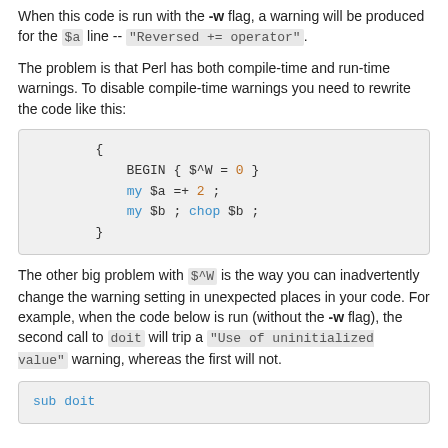When this code is run with the -w flag, a warning will be produced for the $a line -- "Reversed += operator".
The problem is that Perl has both compile-time and run-time warnings. To disable compile-time warnings you need to rewrite the code like this:
{
    BEGIN { $^W = 0 }
    my $a =+ 2 ;
    my $b ; chop $b ;
}
The other big problem with $^W is the way you can inadvertently change the warning setting in unexpected places in your code. For example, when the code below is run (without the -w flag), the second call to doit will trip a "Use of uninitialized value" warning, whereas the first will not.
sub doit